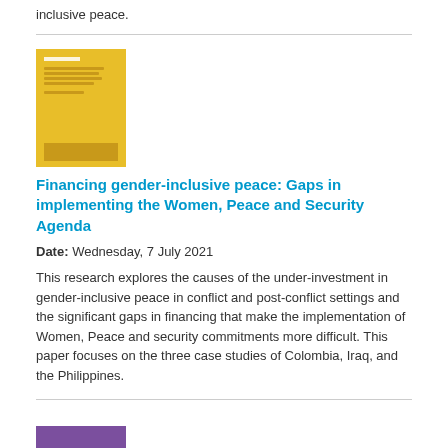inclusive peace.
[Figure (illustration): Yellow book cover thumbnail for the report 'Financing gender-inclusive peace: Gaps in implementing the Women, Peace and Security Agenda']
Financing gender-inclusive peace: Gaps in implementing the Women, Peace and Security Agenda
Date: Wednesday, 7 July 2021
This research explores the causes of the under-investment in gender-inclusive peace in conflict and post-conflict settings and the significant gaps in financing that make the implementation of Women, Peace and security commitments more difficult. This paper focuses on the three case studies of Colombia, Iraq, and the Philippines.
[Figure (illustration): Purple book cover thumbnail partially visible at bottom of page]